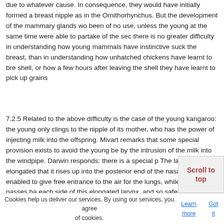due to whatever cause. In consequence, they would have initially formed a breast nipple as in the Ornithorhynchus. But the development of the mammary glands would been of no use, unless the young at the same time were able to partake of the secretion; there is no greater difficulty in understanding how young mammals have instinctively suck the breast, than in understanding how unhatched chickens have learnt to break the shell, or how a few hours after leaving the shell they have learnt to pick up grains
7.2.5 Related to the above difficulty is the case of the young kangaroo: the young only clings to the nipple of its mother, who has the power of injecting milk into the offspring. Mivart remarks that some special provision exists to avoid the young being by the intrusion of the milk into the windpipe. Darwin responds: there is a special provision. The larynx is so elongated that it rises up into the posterior end of the nasal passage, thus enabled to give free entrance to the air for the lungs, while the milk passes harmlessly on each side of this elongated larynx, and so safely attains the gullet behind it. But if would Natural Selection remove this perfectly innocent and harmless structure in the kangaroo (and in most other mammals, provided they are descended from a marsupial)? Darwin answers that the voice, which is certainly of high importance to many animals, could hardly have been used with full force, as Professor Flower suggests, while the larynx filled the nasal passage.
7.2.6 After meeting Mivart's chief objections against Natural Selection, and att... inconsistencies in the extraordinary power of Natural Selection, the chief... Mivart requires for the extraordinary power of Natural Selection...